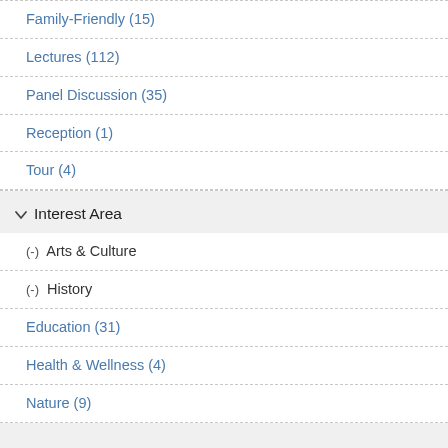Family-Friendly (15)
Lectures (112)
Panel Discussion (35)
Reception (1)
Tour (4)
Interest Area
(-) Arts & Culture
(-) History
Education (31)
Health & Wellness (4)
Nature (9)